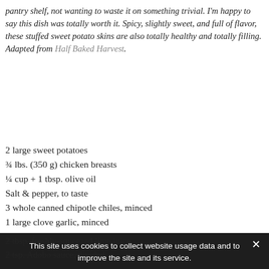pantry shelf, not wanting to waste it on something trivial. I'm happy to say this dish was totally worth it. Spicy, slightly sweet, and full of flavor, these stuffed sweet potato skins are also totally healthy and totally filling. Adapted from Half Baked Harvest.
2 large sweet potatoes
¾ lbs. (350 g) chicken breasts
¼ cup + 1 tbsp. olive oil
Salt & pepper, to taste
3 whole canned chipotle chiles, minced
1 large clove garlic, minced
2 tbsp. freshly-squeezed lime juice
2 tsp. Adobo sauce, divided
1 tsp. dried oregano
1 tsp. cumin
½ tsp. salt
3 cups spinach
Feta cheese, to taste
Chopped cilantro, to serve (opt.)
This site uses cookies to collect website usage data and to improve the site and its service.